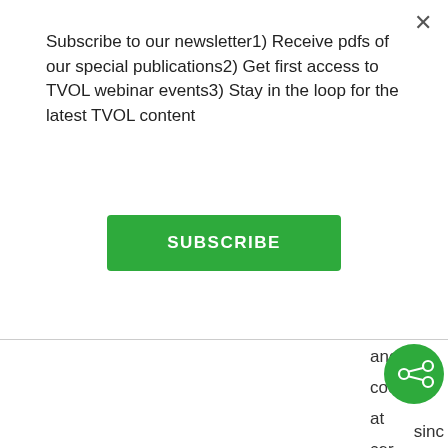Subscribe to our newsletter1) Receive pdfs of our special publications2) Get first access to TVOL webinar events3) Stay in the loop for the latest TVOL content
SUBSCRIBE
and
coo
at
cer
leve
of
[Figure (other): Green circular share button with share icon]
sinc